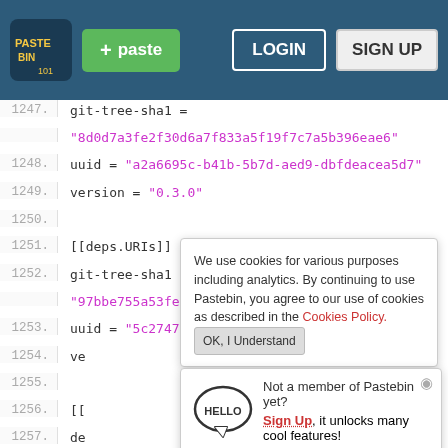Pastebin header with logo, paste button, LOGIN, SIGN UP
1247.  git-tree-sha1 =
        "8d0d7a3fe2f30d6a7f833a5f19f7c7a5b396eae6"
1248.  uuid = "a2a6695c-b41b-5b7d-aed9-dbfdeacea5d7"
1249.  version = "0.3.0"
1250.
1251.  [[deps.URIs]]
1252.  git-tree-sha1 =
        "97bbe755a53fe859669cd907f2d96aee8d2c1355"
1253.  uuid = "5c2747f8-b7ea-4ff2-ba2e-563bfd36b1d4"
1254.  ve
1255.
1256.  [[
1257.  de
1258.  uu
1259.
1260.  [[
1261.  git-tree-sha1 =
Cookie banner: We use cookies for various purposes including analytics. By continuing to use Pastebin, you agree to our use of cookies as described in the Cookies Policy. OK, I Understand
Hello popup: Not a member of Pastebin yet? Sign Up, it unlocks many cool features!